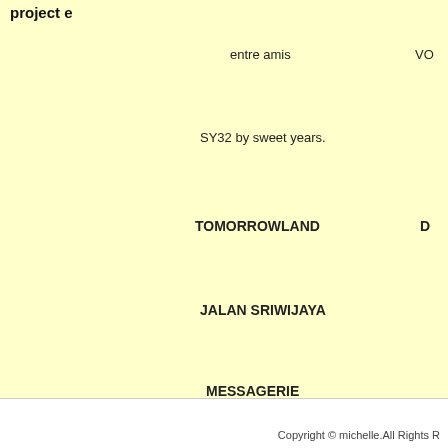project e
entre amis
VO
SY32 by sweet years.
TOMORROWLAND
D
JALAN SRIWIJAYA
MESSAGERIE
SHOES
Tradi
BARBOUR
Accessories & Gift
Copyright © michelle.All Rights R